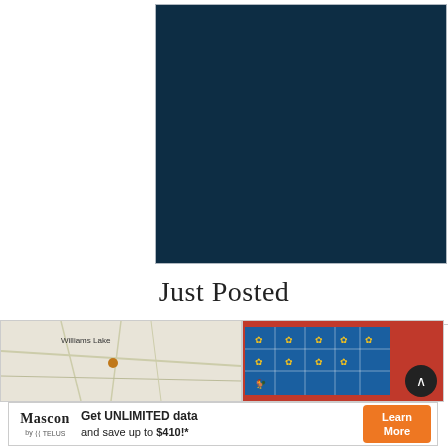[Figure (photo): Dark navy blue rectangle, appears to be a placeholder or loading image]
Just Posted
[Figure (map): Map thumbnail showing Williams Lake area with a location dot marker]
[Figure (photo): Photo thumbnail showing a blue tiled surface with yellow symbols and red background, with a back navigation button]
[Figure (other): Mascon by TELUS advertisement banner: Get UNLIMITED data and save up to $410!* with Learn More button]